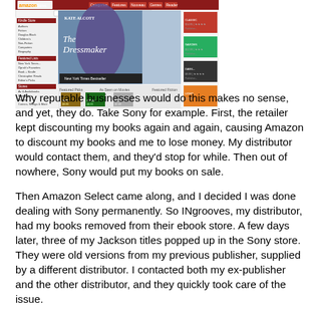[Figure (screenshot): Screenshot of Amazon Store webpage showing book listings including Kate Alcott's 'The Dressmaker' and other book covers with navigation categories on the left side.]
Why reputable businesses would do this makes no sense, and yet, they do. Take Sony for example. First, the retailer kept discounting my books again and again, causing Amazon to discount my books and me to lose money. My distributor would contact them, and they'd stop for while. Then out of nowhere, Sony would put my books on sale.

Then Amazon Select came along, and I decided I was done dealing with Sony permanently. So INgrooves, my distributor, had my books removed from their ebook store. A few days later, three of my Jackson titles popped up in the Sony store. They were old versions from my previous publisher, supplied by a different distributor. I contacted both my ex-publisher and the other distributor, and they quickly took care of the issue.